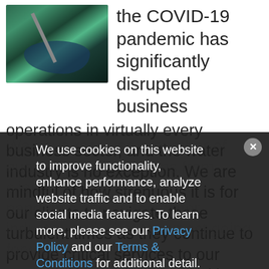[Figure (photo): Aerial view of a winding river or waterway surrounded by dense green forest/vegetation, viewed from above.]
the COVID-19 pandemic has significantly disrupted business operations in virtually every business sector, and the water industry is no exception. We are mindful of how strenuous it is for our clients to navigate these turbulent times as they continue to provide critical services to our communities and adapt quickly to new emergency orders.
We have received a number of questions and concerns from clients on how the current pandemic affects the water industry, and what to expect going forward. We will
We use cookies on this website to improve functionality, enhance performance, analyze website traffic and to enable social media features. To learn more, please see our Privacy Policy and our Terms & Conditions for additional detail.